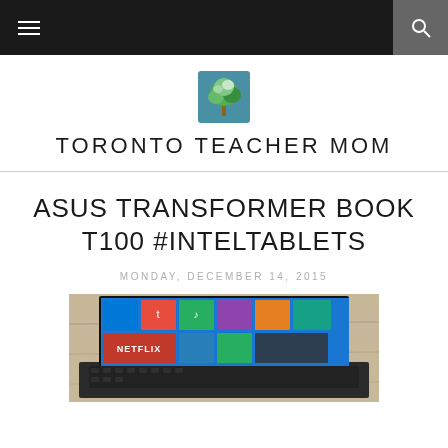☰  🔍
[Figure (logo): Toronto Teacher Mom logo: small tree illustration above the text TORONTO TEACHER MOM]
TORONTO TEACHER MOM
ASUS TRANSFORMER BOOK T100 #INTELTABLETS
MONDAY, DECEMBER 14, 2015
[Figure (photo): Photo of an ASUS Transformer Book T100 laptop/tablet showing Windows 8 start screen with Netflix tile visible, placed on a wooden surface]